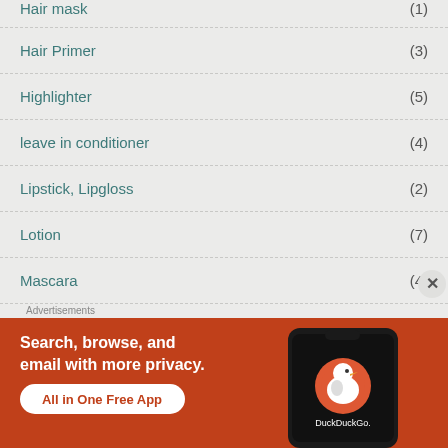Hair mask (1)
Hair Primer (3)
Highlighter (5)
leave in conditioner (4)
Lipstick, Lipgloss (2)
Lotion (7)
Mascara (4)
Moisturizer (22)
Advertisements
[Figure (infographic): DuckDuckGo advertisement banner: Search, browse, and email with more privacy. All in One Free App. Shows a smartphone with DuckDuckGo logo.]